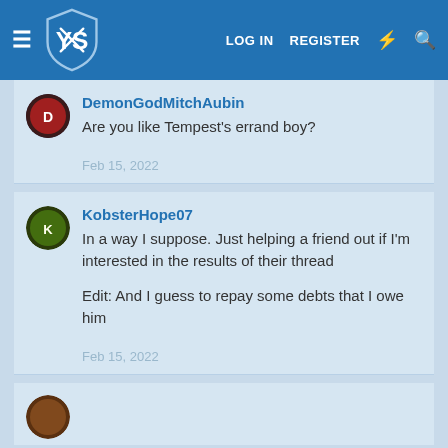YS | LOG IN | REGISTER
DemonGodMitchAubin
Are you like Tempest's errand boy?

Feb 15, 2022
KobsterHope07
In a way I suppose. Just helping a friend out if I'm interested in the results of their thread

Edit: And I guess to repay some debts that I owe him

Feb 15, 2022